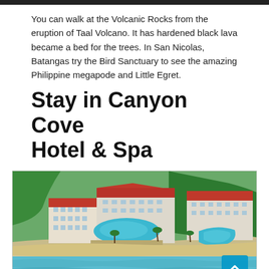You can walk at the Volcanic Rocks from the eruption of Taal Volcano. It has hardened black lava became a bed for the trees. In San Nicolas, Batangas try the Bird Sanctuary to see the amazing Philippine megapode and Little Egret.
Stay in Canyon Cove Hotel & Spa
[Figure (photo): Aerial view of Canyon Cove Hotel & Spa showing the resort complex with red-roofed buildings, swimming pools, beach, and lush greenery surrounding the property.]